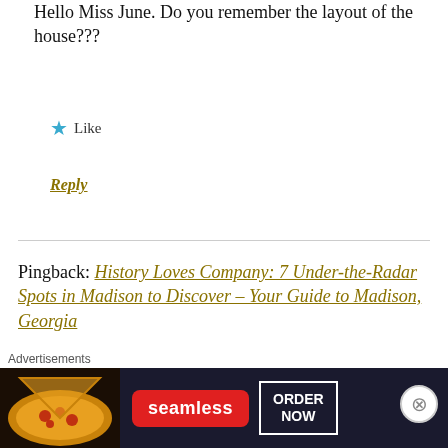Hello Miss June. Do you remember the layout of the house???
★ Like
Reply
Pingback: History Loves Company: 7 Under-the-Radar Spots in Madison to Discover – Your Guide to Madison, Georgia
Melissa Lovingood
[Figure (infographic): Seamless food delivery advertisement banner with pizza image, Seamless logo in red, and ORDER NOW button]
Advertisements